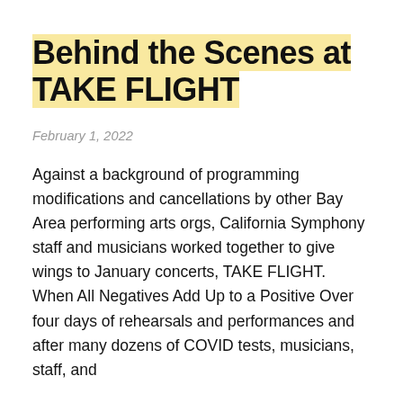Behind the Scenes at TAKE FLIGHT
February 1, 2022
Against a background of programming modifications and cancellations by other Bay Area performing arts orgs, California Symphony staff and musicians worked together to give wings to January concerts, TAKE FLIGHT. When All Negatives Add Up to a Positive Over four days of rehearsals and performances and after many dozens of COVID tests, musicians, staff, and
Read More →